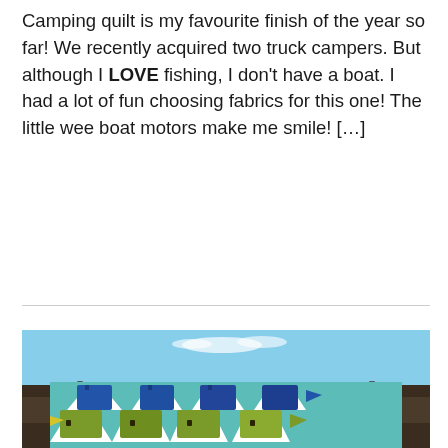Camping quilt is my favourite finish of the year so far! We recently acquired two truck campers. But although I LOVE fishing, I don't have a boat. I had a lot of fun choosing fabrics for this one! The little wee boat motors make me smile! […]
[Figure (photo): A camping/fishing-themed quilt hanging outdoors on a metal structure against a blue sky. The quilt features rows of boat-shaped blocks: top row with blue boats, middle row with olive/green boats, and bottom row with orange/red boats, all on a teal background.]